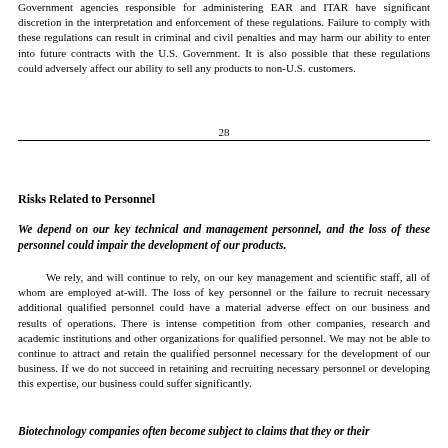Government agencies responsible for administering EAR and ITAR have significant discretion in the interpretation and enforcement of these regulations. Failure to comply with these regulations can result in criminal and civil penalties and may harm our ability to enter into future contracts with the U.S. Government. It is also possible that these regulations could adversely affect our ability to sell any products to non-U.S. customers.
28
Risks Related to Personnel
We depend on our key technical and management personnel, and the loss of these personnel could impair the development of our products.
We rely, and will continue to rely, on our key management and scientific staff, all of whom are employed at-will. The loss of key personnel or the failure to recruit necessary additional qualified personnel could have a material adverse effect on our business and results of operations. There is intense competition from other companies, research and academic institutions and other organizations for qualified personnel. We may not be able to continue to attract and retain the qualified personnel necessary for the development of our business. If we do not succeed in retaining and recruiting necessary personnel or developing this expertise, our business could suffer significantly.
Biotechnology companies often become subject to claims that they or their